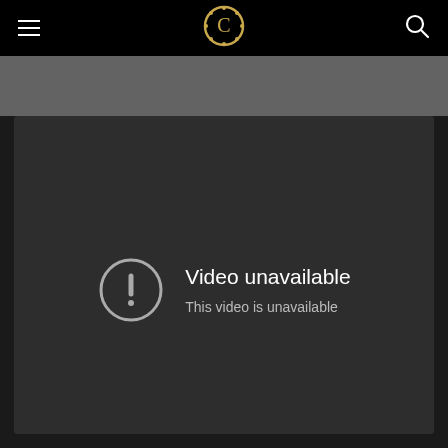Navigation bar with hamburger menu, logo (C), and search icon
[Figure (screenshot): YouTube-style 'Video unavailable' error screen embedded in a website. Dark gray video player area showing a circular exclamation mark icon with the text 'Video unavailable' and 'This video is unavailable' below it. Black navigation bar at top with hamburger menu on the left, a gold/white circular logo in the center, and a search icon on the right. Gray bar between navigation and the video.]